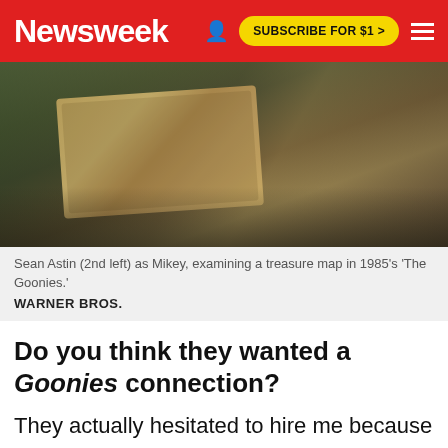Newsweek | SUBSCRIBE FOR $1 >
[Figure (photo): Photo of Sean Astin as Mikey examining a treasure map in the 1985 film The Goonies, with other cast members visible]
Sean Astin (2nd left) as Mikey, examining a treasure map in 1985's 'The Goonies.' WARNER BROS.
Do you think they wanted a Goonies connection?
They actually hesitated to hire me because of Goonies. They said they wanted to make sure it wouldn't be a distraction. But they loved my audition tape and felt I fit the character of Bob